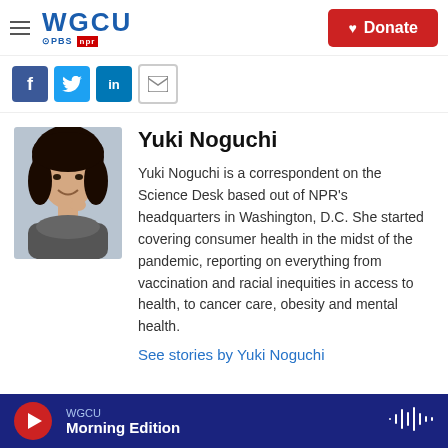WGCU PBS NPR — Donate
[Figure (screenshot): Social sharing icons: Facebook, Twitter, LinkedIn, Email]
[Figure (photo): Headshot of Yuki Noguchi, a young Asian woman smiling, wearing a grey scarf]
Yuki Noguchi
Yuki Noguchi is a correspondent on the Science Desk based out of NPR's headquarters in Washington, D.C. She started covering consumer health in the midst of the pandemic, reporting on everything from vaccination and racial inequities in access to health, to cancer care, obesity and mental health.
See stories by Yuki Noguchi
WGCU Morning Edition